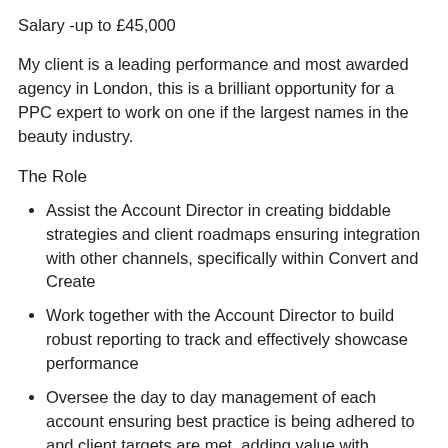Salary -up to £45,000
My client is a leading performance and most awarded agency in London, this is a brilliant opportunity for a PPC expert to work on one if the largest names in the beauty industry.
The Role
Assist the Account Director in creating biddable strategies and client roadmaps ensuring integration with other channels, specifically within Convert and Create
Work together with the Account Director to build robust reporting to track and effectively showcase performance
Oversee the day to day management of each account ensuring best practice is being adhered to and client targets are met, adding value with